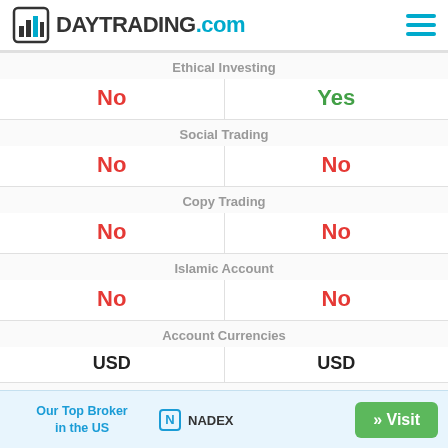DAYTRADING.com
| Ethical Investing |  |
| --- | --- |
| No | Yes |
| Social Trading |  |
| No | No |
| Copy Trading |  |
| No | No |
| Islamic Account |  |
| No | No |
| Account Currencies |  |
| USD | USD |
| Stock Exchanges |  |
| - | New York Stock Exchange |
Our Top Broker in the US
NADEX
» Visit